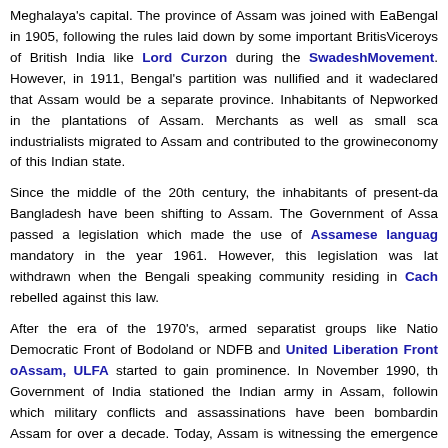Meghalaya's capital. The province of Assam was joined with East Bengal in 1905, following the rules laid down by some important British Viceroys of British India like Lord Curzon during the Swadeshi Movement. However, in 1911, Bengal's partition was nullified and it was declared that Assam would be a separate province. Inhabitants of Nepal worked in the plantations of Assam. Merchants as well as small scale industrialists migrated to Assam and contributed to the growing economy of this Indian state.

Since the middle of the 20th century, the inhabitants of present-day Bangladesh have been shifting to Assam. The Government of Assam passed a legislation which made the use of Assamese language mandatory in the year 1961. However, this legislation was later withdrawn when the Bengali speaking community residing in Cachar rebelled against this law.

After the era of the 1970's, armed separatist groups like National Democratic Front of Bodoland or NDFB and United Liberation Front of Assam, ULFA started to gain prominence. In November 1990, the Government of India stationed the Indian army in Assam, following which military conflicts and assassinations have been bombarding Assam for over a decade. Today, Assam is witnessing the emergence of some militant groups who are based on ethnicity. The Bodo Kacha community belonging to the Bodoland Territorial Council Areas (BTCA), people of Dima Hasao District and the Karbis in Karbi Anglong have been granted regional autonomy.

During the Pakistan Civil War which took place in 1971, about tw